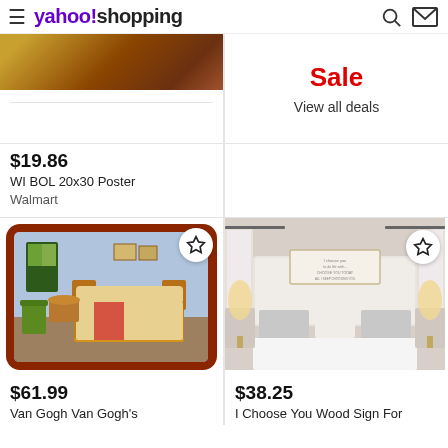yahoo!shopping
[Figure (photo): Product image top left - partial image of painting/poster (brown tones)]
$19.86
WI BOL 20x30 Poster
Walmart
Sale
View all deals
[Figure (photo): Van Gogh's Bedroom painting on red/brown background with star favorite button]
$61.99
Van Gogh Van Gogh's
[Figure (photo): Bedroom with white bedding, striped pillows, lamps, and a wood sign above headboard]
$38.25
I Choose You Wood Sign For